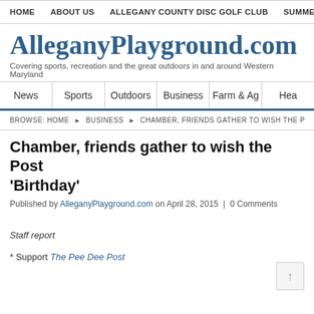HOME   ABOUT US   ALLEGANY COUNTY DISC GOLF CLUB   SUMMER
AlleganyPlayground.com
Covering sports, recreation and the great outdoors in and around Western Maryland
News   Sports   Outdoors   Business   Farm & Ag   Hea
BROWSE:  HOME ▶ BUSINESS ▶ CHAMBER, FRIENDS GATHER TO WISH THE P
Chamber, friends gather to wish the Post 'Birthday'
Published by AlleganyPlayground.com on April 28, 2015  |  0 Comments
Staff report
* Support The Pee Dee Post